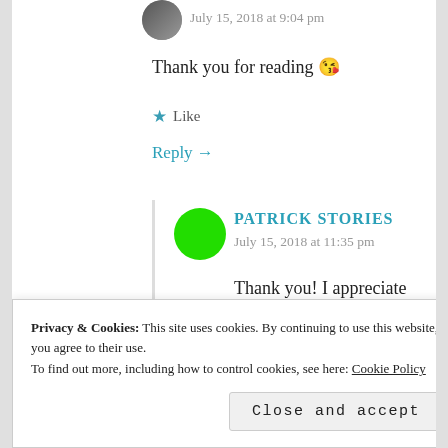July 15, 2018 at 9:04 pm
Thank you for reading 😘
Like
Reply →
PATRICK STORIES
July 15, 2018 at 11:35 pm
Thank you! I appreciate your thoughtful response.
Privacy & Cookies: This site uses cookies. By continuing to use this website, you agree to their use.
To find out more, including how to control cookies, see here: Cookie Policy
Close and accept